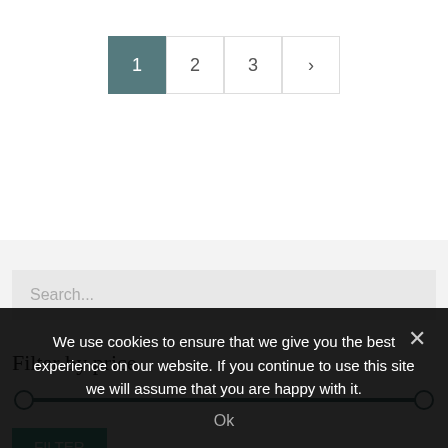1 2 3 >
Search...
Filter by price
We use cookies to ensure that we give you the best experience on our website. If you continue to use this site we will assume that you are happy with it.
Ok